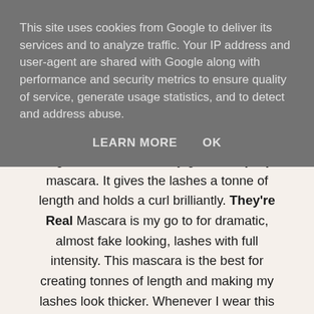This site uses cookies from Google to deliver its services and to analyze traffic. Your IP address and user-agent are shared with Google along with performance and security metrics to ensure quality of service, generate usage statistics, and to detect and address abuse.
LEARN MORE    OK
bag and has become my go to everyday mascara. It gives the lashes a tonne of length and holds a curl brilliantly. They're Real Mascara is my go to for dramatic, almost fake looking, lashes with full intensity. This mascara is the best for creating tonnes of length and making my lashes look thicker. Whenever I wear this mascara I always get asked if I am wearing false lashes but no they're real! My lashes honestly almost touch my brows and I love it! Even though this mascara can be a little difficult to remove, I still love it would repurchase it time and time again.